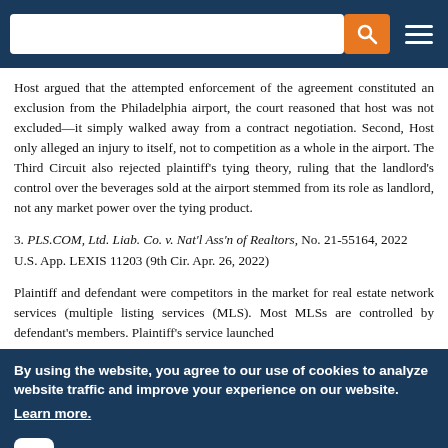[Search bar with orange search button and hamburger menu on dark blue background]
Host argued that the attempted enforcement of the agreement constituted an exclusion from the Philadelphia airport, the court reasoned that host was not excluded—it simply walked away from a contract negotiation. Second, Host only alleged an injury to itself, not to competition as a whole in the airport. The Third Circuit also rejected plaintiff's tying theory, ruling that the landlord's control over the beverages sold at the airport stemmed from its role as landlord, not any market power over the tying product.
3. PLS.COM, Ltd. Liab. Co. v. Nat'l Ass'n of Realtors, No. 21-55164, 2022 U.S. App. LEXIS 11203 (9th Cir. Apr. 26, 2022)
Plaintiff and defendant were competitors in the market for real estate network services (multiple listing services (MLS). Most MLSs are controlled by defendant's members. Plaintiff's service launched
By using the website, you agree to our use of cookies to analyze website traffic and improve your experience on our website. Learn more.